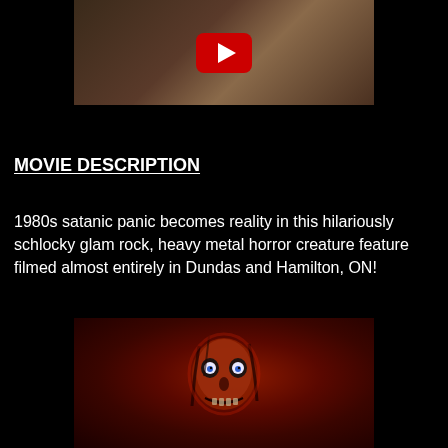[Figure (screenshot): A still from a movie/video with a YouTube play button overlay, showing people seated at a table]
MOVIE DESCRIPTION
1980s satanic panic becomes reality in this hilariously schlocky glam rock, heavy metal horror creature feature filmed almost entirely in Dundas and Hamilton, ON!
[Figure (screenshot): A horror movie still showing a demonic skull-faced creature with glowing eyes against a dark reddish background]